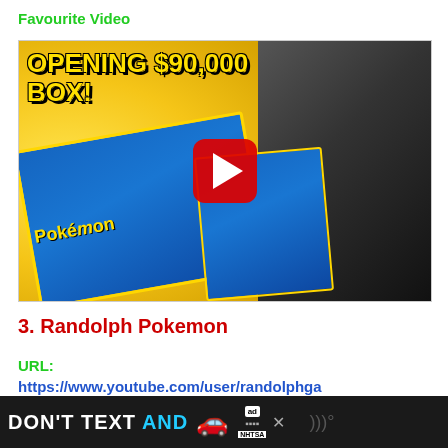Favourite Video
[Figure (screenshot): YouTube video thumbnail showing 'OPENING $90,000 BOX!' with Pokemon card packs and a man holding them, with red YouTube play button in center]
3. Randolph Pokemon
URL:
https://www.youtube.com/user/randolphga
[Figure (screenshot): Ad banner at bottom: 'DON'T TEXT AND' with car emoji and NHTSA logo]